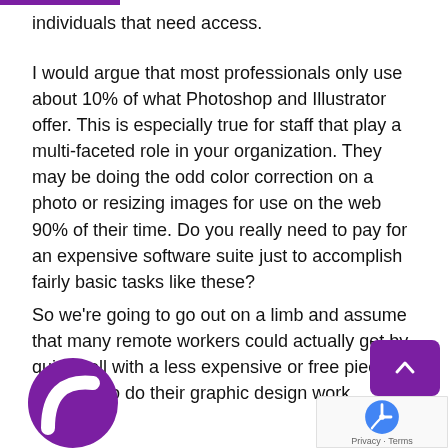individuals that need access.
I would argue that most professionals only use about 10% of what Photoshop and Illustrator offer. This is especially true for staff that play a multi-faceted role in your organization. They may be doing the odd color correction on a photo or resizing images for use on the web 90% of their time. Do you really need to pay for an expensive software suite just to accomplish fairly basic tasks like these?
So we're going to go out on a limb and assume that many remote workers could actually get by quite well with a less expensive or free piece of software to do their graphic design work.
[Figure (logo): Purple circle logo with white curved shape inside, partially visible at bottom left]
[Figure (other): Purple scroll-to-top button with upward chevron arrow, bottom right]
[Figure (other): Google reCAPTCHA badge with Privacy and Terms links, bottom right corner]